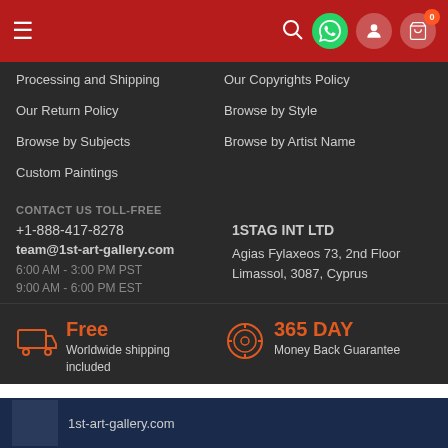Header bar with menu, search, WhatsApp, user, cart icons
Processing and Shipping
Our Copyrights Policy
Our Return Policy
Browse by Style
Browse by Subjects
Browse by Artist Name
Custom Paintings
CONTACT US TOLL-FREE
+1-888-417-8278
team@1st-art-gallery.com
6:00 AM - 3:00 PM PST
9:00 AM - 6:00 PM EST
1STAG INT LTD
Agias Fylaxeos 73, 2nd Floor
Limassol, 3087, Cyprus
Free
Worldwide shipping included
365 DAY
Money Back Guarantee
1st-art-gallery.com